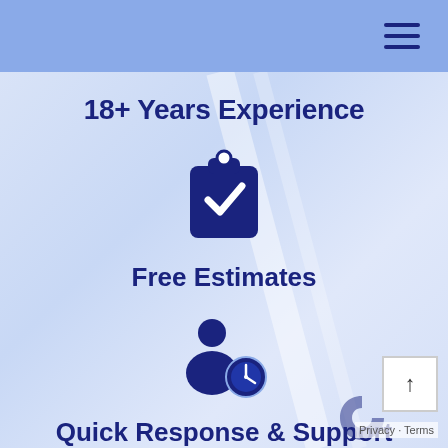18+ Years Experience
[Figure (illustration): Dark blue clipboard icon with a check mark]
Free Estimates
[Figure (illustration): Dark blue person with clock icon representing quick response]
Quick Response & Support